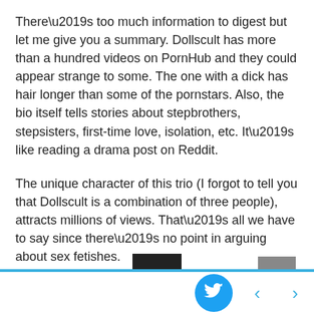There’s too much information to digest but let me give you a summary. Dollscult has more than a hundred videos on PornHub and they could appear strange to some. The one with a dick has hair longer than some of the pornstars. Also, the bio itself tells stories about stepbrothers, stepsisters, first-time love, isolation, etc. It’s like reading a drama post on Reddit.
The unique character of this trio (I forgot to tell you that Dollscult is a combination of three people), attracts millions of views. That’s all we have to say since there’s no point in arguing about sex fetishes.
Birthdate: February 3, 2002